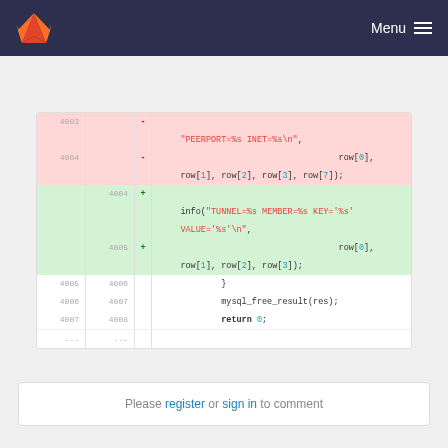Menu
[Figure (screenshot): GitLab code diff view showing lines 4003-4008, with deleted lines (red background) showing PEERPORT and INET format string and row parameters, and added lines (green background) showing TUNNEL, MEMBER, KEY, VALUE format string replacements, plus context lines with closing brace, mysql_free_result(res), and return 0]
Please register or sign in to comment